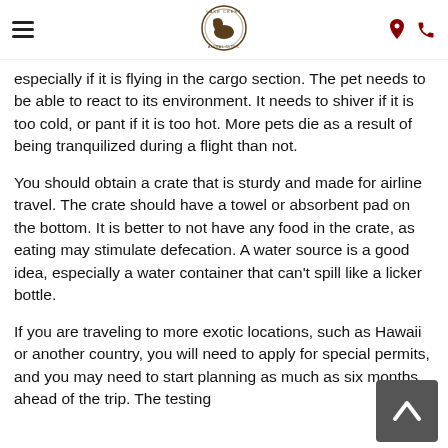Lake Crest Animal Clinic — navigation header
especially if it is flying in the cargo section. The pet needs to be able to react to its environment. It needs to shiver if it is too cold, or pant if it is too hot. More pets die as a result of being tranquilized during a flight than not.
You should obtain a crate that is sturdy and made for airline travel. The crate should have a towel or absorbent pad on the bottom. It is better to not have any food in the crate, as eating may stimulate defecation. A water source is a good idea, especially a water container that can't spill like a licker bottle.
If you are traveling to more exotic locations, such as Hawaii or another country, you will need to apply for special permits, and you may need to start planning as much as six months ahead of the trip. The testing